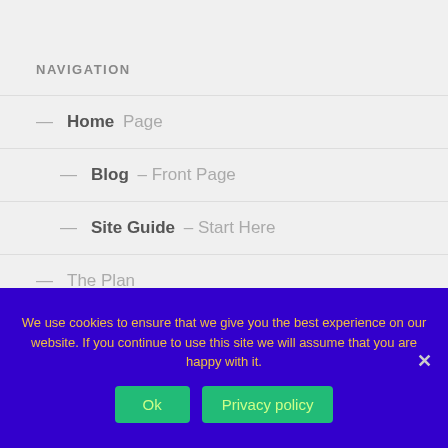NAVIGATION
— Home Page
— Blog – Front Page
— Site Guide – Start Here
— The Plan
— 50 Quick Tips – MoneyDeck
We use cookies to ensure that we give you the best experience on our website. If you continue to use this site we will assume that you are happy with it.
Ok   Privacy policy